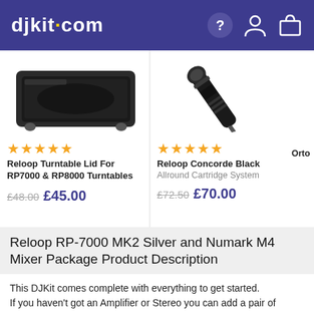djkit.com
[Figure (photo): Reloop Turntable Lid product photo - black rectangular lid for turntable]
[Figure (photo): Reloop Concorde Black cartridge/stylus product photo - black elongated stylus pen shape]
★★★★★
★★★★★
Reloop Turntable Lid For RP7000 & RP8000 Turntables
Reloop Concorde Black
Allround Cartridge System
Orto
£48.00  £45.00
£72.50  £70.00
Reloop RP-7000 MK2 Silver and Numark M4 Mixer Package Product Description
This DJKit comes complete with everything to get started.
If you haven't got an Amplifier or Stereo you can add a pair of Powered Monitors or a Complete Sound System please see special offers below.